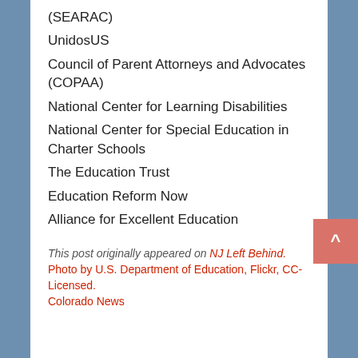(SEARAC)
UnidosUS
Council of Parent Attorneys and Advocates (COPAA)
National Center for Learning Disabilities
National Center for Special Education in Charter Schools
The Education Trust
Education Reform Now
Alliance for Excellent Education
This post originally appeared on NJ Left Behind. Photo by U.S. Department of Education, Flickr, CC-Licensed.
Colorado News